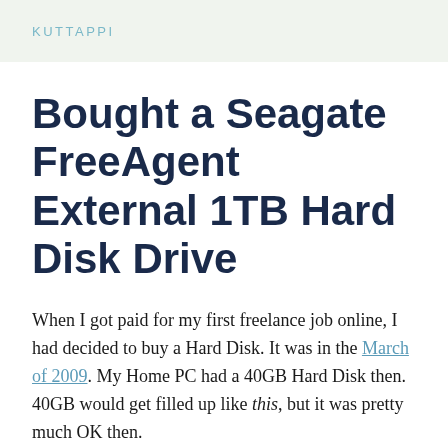KUTTAPPI
Bought a Seagate FreeAgent External 1TB Hard Disk Drive
When I got paid for my first freelance job online, I had decided to buy a Hard Disk. It was in the March of 2009. My Home PC had a 40GB Hard Disk then. 40GB would get filled up like this, but it was pretty much OK then.